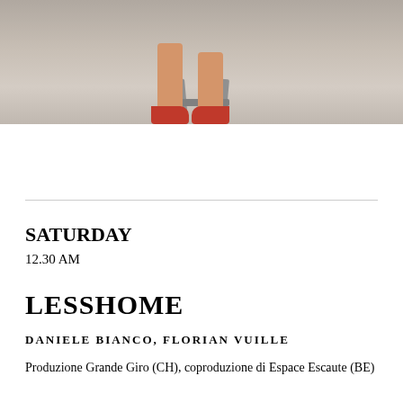[Figure (photo): Photo showing a person's legs and red shoes near a metal stool or chair, set on a grey/stone surface]
SATURDAY
12.30 AM
LESSHOME
DANIELE BIANCO, FLORIAN VUILLE
Produzione Grande Giro (CH), coproduzione di Espace Escaute (BE)